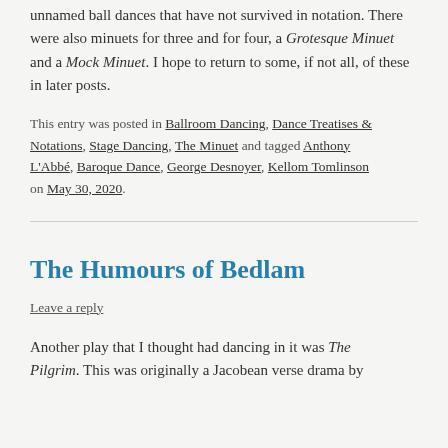unnamed ball dances that have not survived in notation. There were also minuets for three and for four, a Grotesque Minuet and a Mock Minuet. I hope to return to some, if not all, of these in later posts.
This entry was posted in Ballroom Dancing, Dance Treatises & Notations, Stage Dancing, The Minuet and tagged Anthony L'Abbé, Baroque Dance, George Desnoyer, Kellom Tomlinson on May 30, 2020.
The Humours of Bedlam
Leave a reply
Another play that I thought had dancing in it was The Pilgrim. This was originally a Jacobean verse drama by